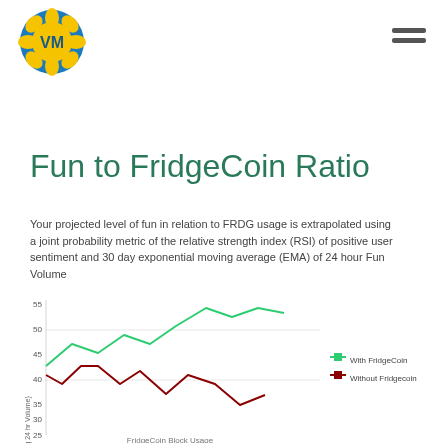[Figure (logo): VM logo - golden flower/mandala shape with blue border containing VM letters]
Fun to FridgeCoin Ratio
Your projected level of fun in relation to FRDG usage is extrapolated using a joint probability metric of the relative strength index (RSI) of positive user sentiment and 30 day exponential moving average (EMA) of 24 hour Fun Volume
[Figure (line-chart): Fun to FridgeCoin Ratio]